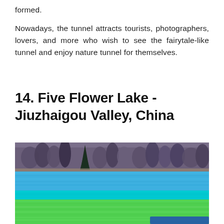formed.
Nowadays, the tunnel attracts tourists, photographers, lovers, and more who wish to see the fairytale-like tunnel and enjoy nature tunnel for themselves.
14. Five Flower Lake - Jiuzhaigou Valley, China
[Figure (photo): A vibrant landscape photograph of Five Flower Lake in Jiuzhaigou Valley, China, showing multicolored water ranging from bright green in the foreground to vivid blue in the middle, with bare winter trees and forest reflected in the lake, and mountains in the background.]